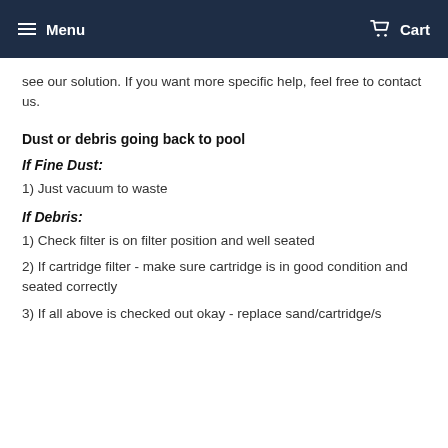Menu  Cart
see our solution. If you want more specific help, feel free to contact us.
Dust or debris going back to pool
If Fine Dust:
1) Just vacuum to waste
If Debris:
1) Check filter is on filter position and well seated
2) If cartridge filter - make sure cartridge is in good condition and seated correctly
3) If all above is checked out okay - replace sand/cartridge/s